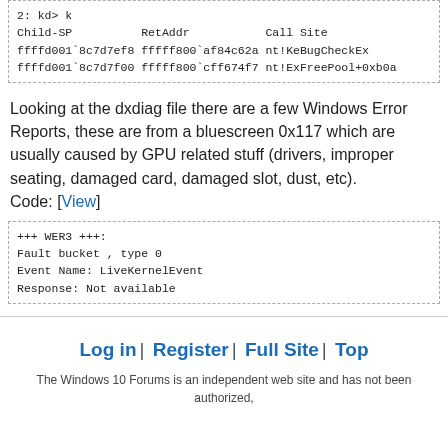2: kd> k
Child-SP          RetAddr           Call Site
ffffd001`8c7d7ef8 fffff800`af84c62a nt!KeBugCheckEx
ffffd001`8c7d7f00 fffff800`cff674f7 nt!ExFreePool+0xb0a
Looking at the dxdiag file there are a few Windows Error Reports, these are from a bluescreen 0x117 which are usually caused by GPU related stuff (drivers, improper seating, damaged card, damaged slot, dust, etc).
Code: [View]
+++ WER3 +++:
Fault bucket , type 0
Event Name: LiveKernelEvent
Response: Not available
Log in | Register | Full Site | Top
The Windows 10 Forums is an independent web site and has not been authorized,